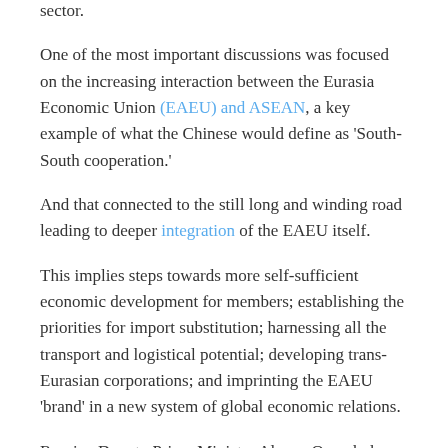sector.
One of the most important discussions was focused on the increasing interaction between the Eurasia Economic Union (EAEU) and ASEAN, a key example of what the Chinese would define as 'South-South cooperation.'
And that connected to the still long and winding road leading to deeper integration of the EAEU itself.
This implies steps towards more self-sufficient economic development for members; establishing the priorities for import substitution; harnessing all the transport and logistical potential; developing trans-Eurasian corporations; and imprinting the EAEU 'brand' in a new system of global economic relations.
Russian Deputy Prime Minister Alexey Overchuk